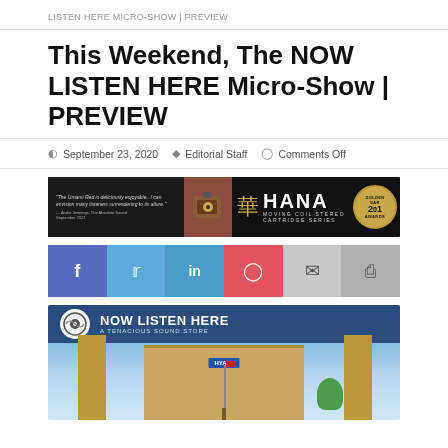LISTEN HERE Micro-Show | PREVIEW
This Weekend, The NOW LISTEN HERE Micro-Show | PREVIEW
September 23, 2020   Editorial Staff   Comments Off
[Figure (photo): HANA Moving Coil Stereo Cartridge Series advertisement banner with Golden Ear Award badge]
[Figure (infographic): Social media sharing buttons: Facebook, Twitter, LinkedIn, Pinterest, Email, Print]
[Figure (photo): Now Listen Here – A Tenacious Sound Store banner image showing a Hyatt hotel building exterior]